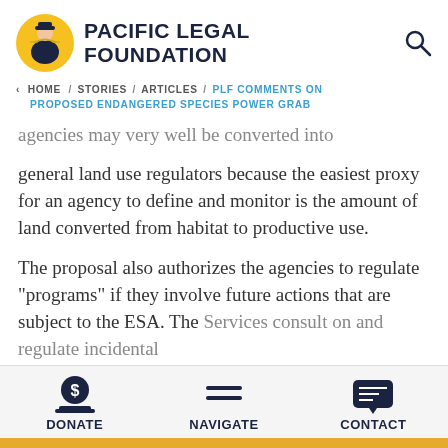PACIFIC LEGAL FOUNDATION
< HOME / STORIES / ARTICLES / PLF COMMENTS ON PROPOSED ENDANGERED SPECIES POWER GRAB
agencies may very well be converted into general land use regulators because the easiest proxy for an agency to define and monitor is the amount of land converted from habitat to productive use.
The proposal also authorizes the agencies to regulate "programs" if they involve future actions that are subject to the ESA. The Services consult on and regulate incidental
DONATE  NAVIGATE  CONTACT